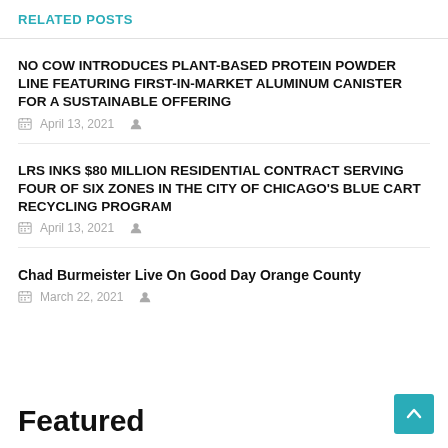RELATED POSTS
NO COW INTRODUCES PLANT-BASED PROTEIN POWDER LINE FEATURING FIRST-IN-MARKET ALUMINUM CANISTER FOR A SUSTAINABLE OFFERING
April 13, 2021
LRS INKS $80 MILLION RESIDENTIAL CONTRACT SERVING FOUR OF SIX ZONES IN THE CITY OF CHICAGO'S BLUE CART RECYCLING PROGRAM
April 13, 2021
Chad Burmeister Live On Good Day Orange County
March 22, 2021
Featured